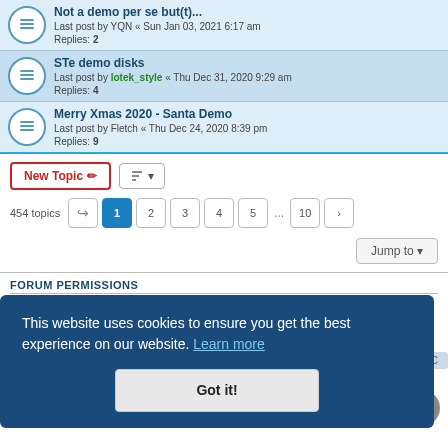Not a demo per se but(t)... Last post by YQN « Sun Jan 03, 2021 6:17 am Replies: 2
STe demo disks Last post by lotek_style « Thu Dec 31, 2020 9:29 am Replies: 4
Merry Xmas 2020 - Santa Demo Last post by Fletch « Thu Dec 24, 2020 8:39 pm Replies: 9
New Topic
454 topics  1 2 3 4 5 ... 10 >
Jump to
FORUM PERMISSIONS
This website uses cookies to ensure you get the best experience on our website. Learn more
Got it!